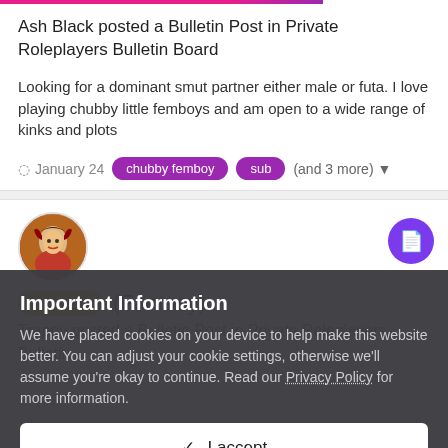Ash Black posted a Bulletin Post in Private Roleplayers Bulletin Board
Looking for a dominant smut partner either male or futa. I love playing chubby little femboys and am open to a wide range of kinks and plots
January 24   chubby femboy   sub   (and 3 more)
[Figure (illustration): Round avatar image of an anime-style female character with devil horns and brown hair]
shota sub   (Fantasy)
Trappy posted a Bulletin Post in Private Roleplayers Bulletin
Important Information
We have placed cookies on your device to help make this website better. You can adjust your cookie settings, otherwise we'll assume you're okay to continue. Read our Privacy Policy for more information.
✓ I accept